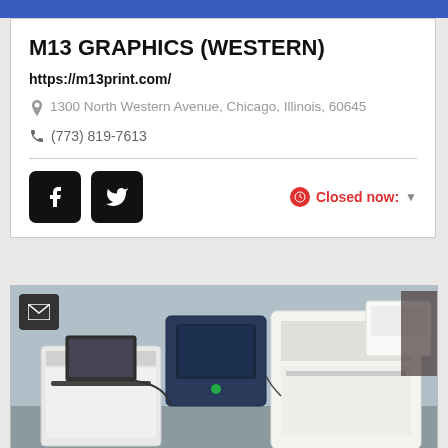M13 GRAPHICS (WESTERN)
https://m13print.com/
1300 North Western Avenue, Chicago, Illinois, 60645
(773) 819-7613
[Figure (screenshot): Social media buttons (Facebook and Twitter) and Closed now status badge with dropdown arrow]
[Figure (photo): Photo of printing equipment/machines in an office setting, with a laptop and large industrial printers visible. An email icon button overlays the top-left corner of the photo.]